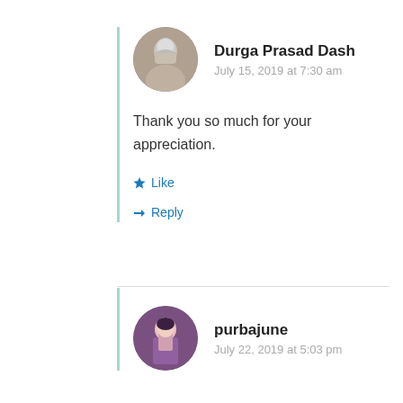[Figure (photo): Circular avatar photo of Durga Prasad Dash, black and white photo of a man]
Durga Prasad Dash
July 15, 2019 at 7:30 am
Thank you so much for your appreciation.
Like
Reply
[Figure (photo): Circular avatar photo of purbajune, a woman holding something]
purbajune
July 22, 2019 at 5:03 pm